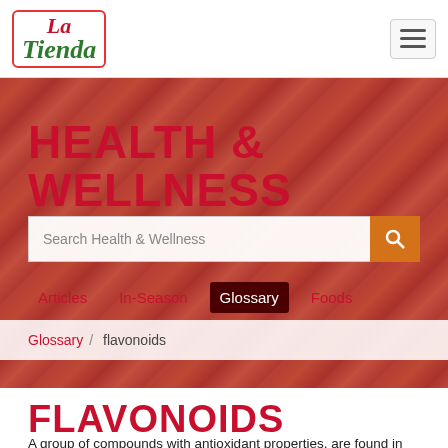La Tienda
HEALTH & WELLNESS
Search Health & Wellness
Articles  In-Season  Glossary  Foods
Glossary / flavonoids
FLAVONOIDS
A group of compounds with antioxidant properties, are found in carrots, tea, citrus fruits, berries, broccoli, peppers, squash, tomatoes, soybeans, eggplant, and a variety of other fruits and